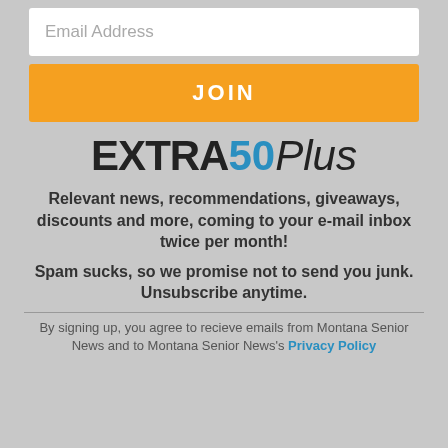Email Address
JOIN
[Figure (logo): EXTRA50Plus logo with EXTRA in black bold, 50 in blue bold, Plus in italic]
Relevant news, recommendations, giveaways, discounts and more, coming to your e-mail inbox twice per month!
Spam sucks, so we promise not to send you junk. Unsubscribe anytime.
By signing up, you agree to recieve emails from Montana Senior News and to Montana Senior News's Privacy Policy